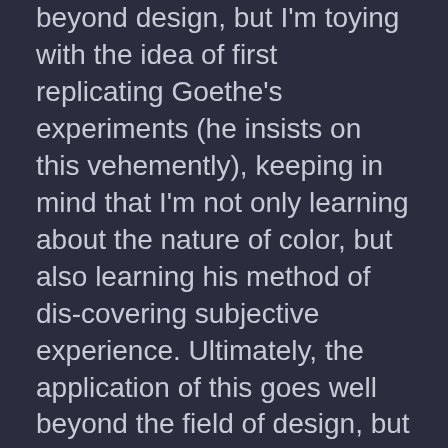beyond design, but I'm toying with the idea of first replicating Goethe's experiments (he insists on this vehemently), keeping in mind that I'm not only learning about the nature of color, but also learning his method of dis-covering subjective experience. Ultimately, the application of this goes well beyond the field of design, but I must first come to an understanding within the field I know best.
I'll pursue sideways, as a distraction from current work. This narrow view of the world as a single project has proved to be insufficient for a healthy mind.